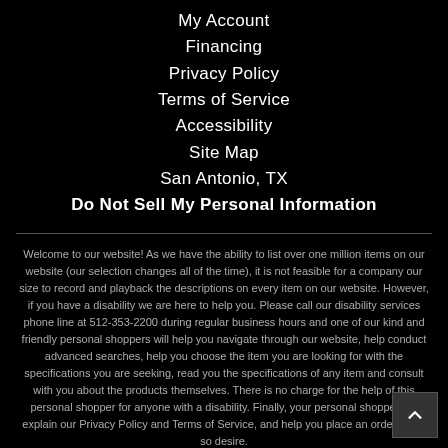My Account
Financing
Privacy Policy
Terms of Service
Accessibility
Site Map
San Antonio, TX
Do Not Sell My Personal Information
Welcome to our website! As we have the ability to list over one million items on our website (our selection changes all of the time), it is not feasible for a company our size to record and playback the descriptions on every item on our website. However, if you have a disability we are here to help you. Please call our disability services phone line at 512-353-2200 during regular business hours and one of our kind and friendly personal shoppers will help you navigate through our website, help conduct advanced searches, help you choose the item you are looking for with the specifications you are seeking, read you the specifications of any item and consult with you about the products themselves. There is no charge for the help of this personal shopper for anyone with a disability. Finally, your personal shopper will explain our Privacy Policy and Terms of Service, and help you place an order if you so desire.